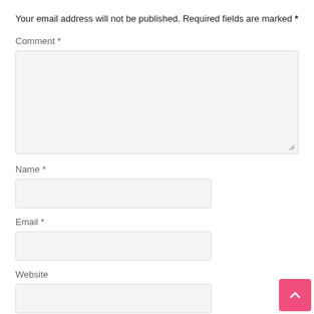Your email address will not be published. Required fields are marked *
Comment *
[Figure (screenshot): Empty comment textarea input box with light gray background and resize handle]
Name *
[Figure (screenshot): Empty name text input box with light gray background]
Email *
[Figure (screenshot): Empty email text input box with light gray background]
Website
[Figure (screenshot): Empty website text input box with light gray background]
Save my name, email, and website in this browser for the next time I comment.